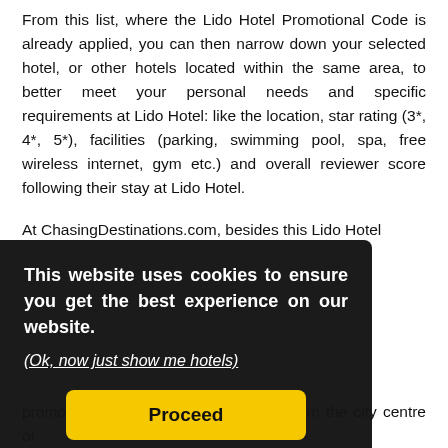From this list, where the Lido Hotel Promotional Code is already applied, you can then narrow down your selected hotel, or other hotels located within the same area, to better meet your personal needs and specific requirements at Lido Hotel: like the location, star rating (3*, 4*, 5*), facilities (parking, swimming pool, spa, free wireless internet, gym etc.) and overall reviewer score following their stay at Lido Hotel.
At ChasingDestinations.com, besides this Lido Hotel [... wide ...u are ...hotel, ...where ...ce by ...t, star ...Hotel promotion) or even the total distance from the city centre or
[Figure (other): Cookie consent overlay banner with dark background. Text: 'This website uses cookies to ensure you get the best experience on our website.' with a link '(Ok, now just show me hotels)' and a yellow 'Proceed' button.]